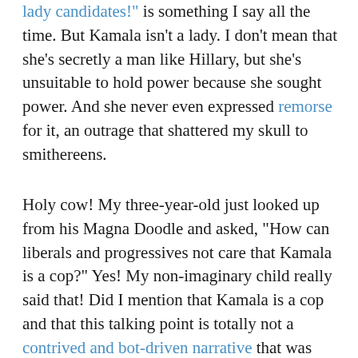lady candidates!" is something I say all the time. But Kamala isn't a lady. I don't mean that she's secretly a man like Hillary, but she's unsuitable to hold power because she sought power. And she never even expressed remorse for it, an outrage that shattered my skull to smithereens.
Holy cow! My three-year-old just looked up from his Magna Doodle and asked, "How can liberals and progressives not care that Kamala is a cop?" Yes! My non-imaginary child really said that! Did I mention that Kamala is a cop and that this talking point is totally not a contrived and bot-driven narrative that was pushed by people who are scared of her? So if you're a liberal-leaning fellow who can't quite put